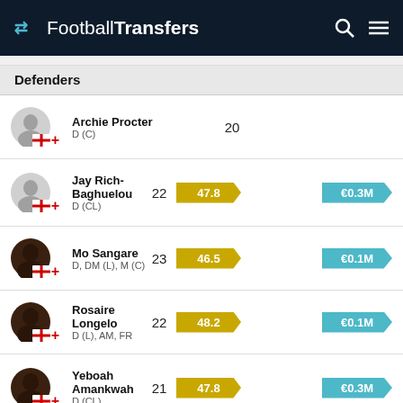FootballTransfers
Defenders
Archie Procter | D (C) | Age: 20
Jay Rich-Baghuelou | D (CL) | Age: 22 | Rating: 47.8 | Value: €0.3M
Mo Sangare | D, DM (L), M (C) | Age: 23 | Rating: 46.5 | Value: €0.1M
Rosaire Longelo | D (L), AM, FR | Age: 22 | Rating: 48.2 | Value: €0.1M
Yeboah Amankwah | D (CL) | Age: 21 | Rating: 47.8 | Value: €0.3M
Mitchell Clark | D (RL), M (R) | Age: 23 | Rating: 51.0 | Value: €0.2M